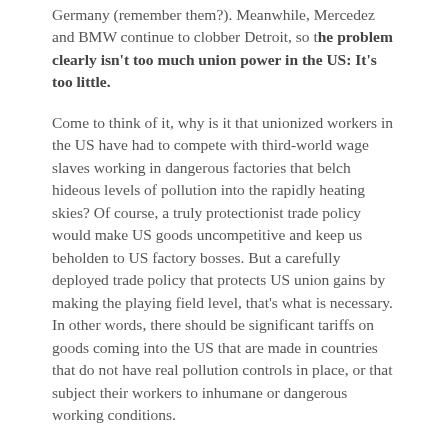Germany (remember them?). Meanwhile, Mercedez and BMW continue to clobber Detroit, so the problem clearly isn't too much union power in the US: It's too little.
Come to think of it, why is it that unionized workers in the US have had to compete with third-world wage slaves working in dangerous factories that belch hideous levels of pollution into the rapidly heating skies? Of course, a truly protectionist trade policy would make US goods uncompetitive and keep us beholden to US factory bosses. But a carefully deployed trade policy that protects US union gains by making the playing field level, that's what is necessary. In other words, there should be significant tariffs on goods coming into the US that are made in countries that do not have real pollution controls in place, or that subject their workers to inhumane or dangerous working conditions.
So that's it: The US sold out the middle class